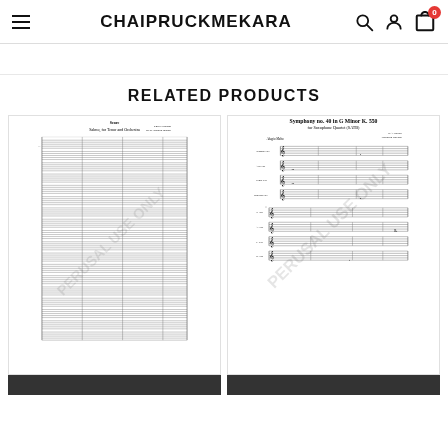CHAIPRUCKMEKARA
RELATED PRODUCTS
[Figure (illustration): Sheet music score for 'Salmo, for Tenor and Orchestra' - a full orchestral score with multiple staves, with PERUSAL USE ONLY watermark]
[Figure (illustration): Sheet music score for 'Symphony no. 40 in G Minor K. 550 for Saxophone Quartet (SATB)' by W.A. Mozart, arranged by Chairpich Shikipra, marked Adagio Molto, with PERUSAL USE ONLY watermark]